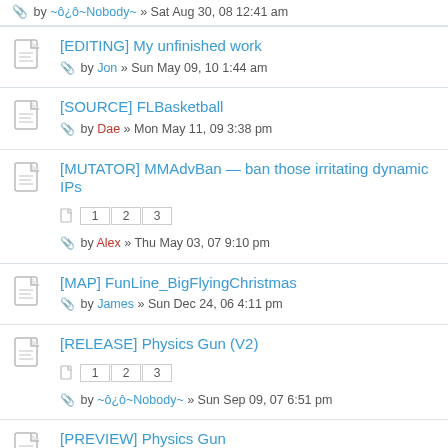by ~ô¿ô~Nobody~ » Sat Aug 30, 08 12:41 am
[EDITING] My unfinished work — by Jon » Sun May 09, 10 1:44 am
[SOURCE] FLBasketball — by Dae » Mon May 11, 09 3:38 pm
[MUTATOR] MMAdvBan — ban those irritating dynamic IPs — pages 1 2 3 — by Alex » Thu May 03, 07 9:10 pm
[MAP] FunLine_BigFlyingChristmas — by James » Sun Dec 24, 06 4:11 pm
[RELEASE] Physics Gun (V2) — pages 1 2 3 — by ~ô¿ô~Nobody~ » Sun Sep 09, 07 6:51 pm
[PREVIEW] Physics Gun